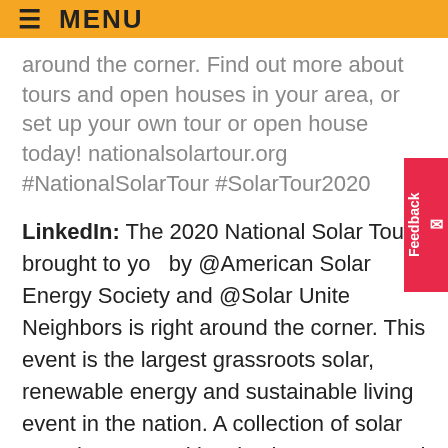≡ MENU
around the corner. Find out more about tours and open houses in your area, or set up your own tour or open house today! nationalsolartour.org #NationalSolarTour #SolarTour2020
LinkedIn: The 2020 National Solar Tour brought to you by @American Solar Energy Society and @Solar United Neighbors is right around the corner. This event is the largest grassroots solar, renewable energy and sustainable living event in the nation. A collection of solar open houses and local solar tours around the country, the Tour occurs October 3 & 4 and the surrounding weekends. The Tour brings together solar supporters, home and business owners, and community members together to celebrate and help grow solar in their communities. Solar homes, bu…